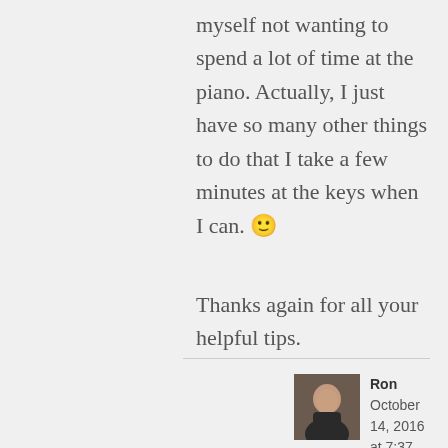myself not wanting to spend a lot of time at the piano. Actually, I just have so many other things to do that I take a few minutes at the keys when I can. 🙂
Thanks again for all your helpful tips.
Ron  October 14, 2016 at 7:37 am - Reply